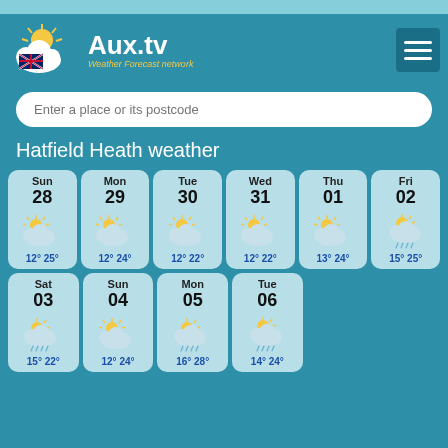[Figure (logo): Aux.tv Weather Forecast network logo with sun, clouds and UK flag]
Aux.tv Weather Forecast network
Enter a place or its postcode
Hatfield Heath weather
| Sun 28 | Mon 29 | Tue 30 | Wed 31 | Thu 01 | Fri 02 |
| --- | --- | --- | --- | --- | --- |
| 12° 25° | 12° 24° | 12° 22° | 12° 22° | 13° 24° | 15° 25° |
| Sat 03 | Sun 04 | Mon 05 | Tue 06 |
| --- | --- | --- | --- |
| 15° 22° | 12° 24° | 16° 28° | 14° 24° |